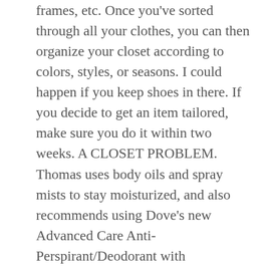frames, etc. Once you've sorted through all your clothes, you can then organize your closet according to colors, styles, or seasons. I could happen if you keep shoes in there. If you decide to get an item tailored, make sure you do it within two weeks. A CLOSET PROBLEM. Thomas uses body oils and spray mists to stay moisturized, and also recommends using Dove's new Advanced Care Anti-Perspirant/Deodorant with NutriumMoisture provides softer, smoother armpits in just three days and offers 48-hour odor and wetness protection. Now it's time to sort. Coffee grounds absorb foul odors, so placing a can of grounds in your closet will eliminate stink. You must have some stuff in there that you don't play with anymore. There should be space in your drawers for t-shirts, sweatshirts, and turtlenecks. You can even get new organizers that fit in your closet to keep everything organized. Those